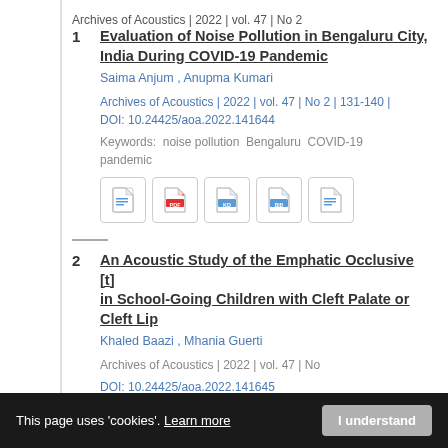Archives of Acoustics | 2022 | vol. 47 | No 2
1  Evaluation of Noise Pollution in Bengaluru City, India During COVID-19 Pandemic
Saima Anjum , Anupma Kumari
Archives of Acoustics | 2022 | vol. 47 | No 2 | 131-140 | DOI: 10.24425/aoa.2022.141644
Keywords: noise pollution  Bengaluru  COVID-19  pandemic
2  An Acoustic Study of the Emphatic Occlusive [t] in School-Going Children with Cleft Palate or Cleft Lip
Khaled Baazi , Mhania Guerti
DOI: 10.24425/aoa.2022.141645
Keywords: cleft palate  cleft lip and cleft palate